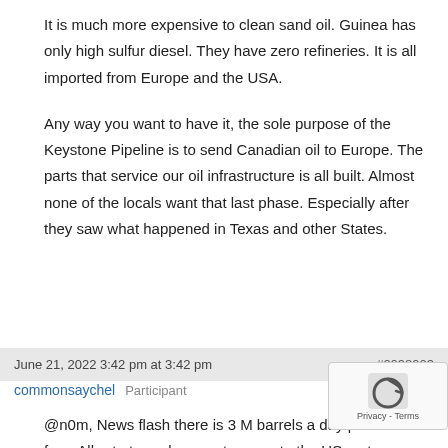It is much more expensive to clean sand oil. Guinea has only high sulfur diesel. They have zero refineries. It is all imported from Europe and the USA.
Any way you want to have it, the sole purpose of the Keystone Pipeline is to send Canadian oil to Europe. The parts that service our oil infrastructure is all built. Almost none of the locals want that last phase. Especially after they saw what happened in Texas and other States.
June 21, 2022 3:42 pm at 3:42 pm   #2098903
commonsaychel   Participant
@n0m, News flash there is 3 M barrels a day produced from Alberta tar a day, most comes to the US on t cars